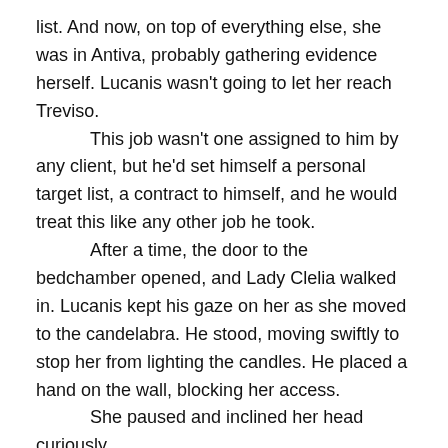list. And now, on top of everything else, she was in Antiva, probably gathering evidence herself. Lucanis wasn't going to let her reach Treviso.
	This job wasn't one assigned to him by any client, but he'd set himself a personal target list, a contract to himself, and he would treat this like any other job he took.
	After a time, the door to the bedchamber opened, and Lady Clelia walked in. Lucanis kept his gaze on her as she moved to the candelabra. He stood, moving swiftly to stop her from lighting the candles. He placed a hand on the wall, blocking her access.
	She paused and inclined her head curiously.
	'Demon.'
	Lucanis remained alert, still blocking her path, his other hand ready to grab hers, but she stepped away from the candelabra.